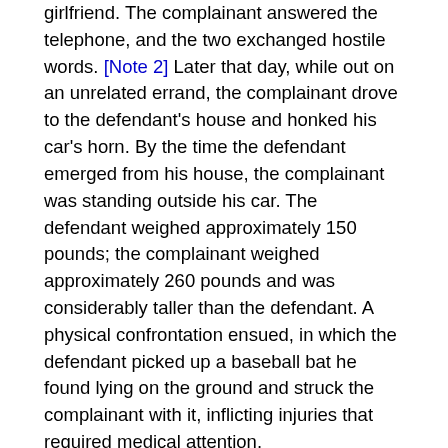girlfriend. The complainant answered the telephone, and the two exchanged hostile words. [Note 2] Later that day, while out on an unrelated errand, the complainant drove to the defendant's house and honked his car's horn. By the time the defendant emerged from his house, the complainant was standing outside his car. The defendant weighed approximately 150 pounds; the complainant weighed approximately 260 pounds and was considerably taller than the defendant. A physical confrontation ensued, in which the defendant picked up a baseball bat he found lying on the ground and struck the complainant with it, inflicting injuries that required medical attention.
The defendant did not testify at trial but, supported by the testimony of two witnesses who stated that they saw the attack, argued that he acted in self-defense to